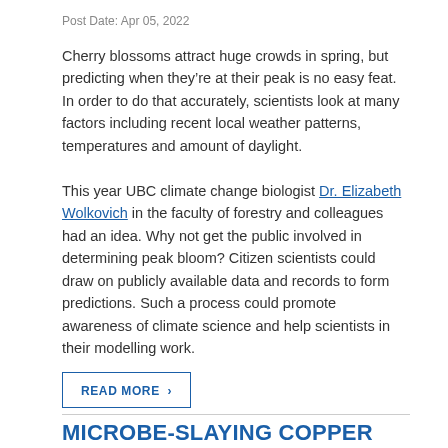Post Date: Apr 05, 2022
Cherry blossoms attract huge crowds in spring, but predicting when they’re at their peak is no easy feat. In order to do that accurately, scientists look at many factors including recent local weather patterns, temperatures and amount of daylight.
This year UBC climate change biologist Dr. Elizabeth Wolkovich in the faculty of forestry and colleagues had an idea. Why not get the public involved in determining peak bloom? Citizen scientists could draw on publicly available data and records to form predictions. Such a process could promote awareness of climate science and help scientists in their modelling work.
READ MORE ›
MICROBE-SLAYING COPPER